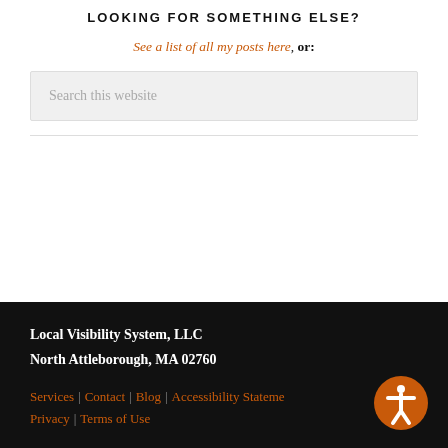LOOKING FOR SOMETHING ELSE?
See a list of all my posts here, or:
Search this website
Local Visibility System, LLC
North Attleborough, MA 02760
Services | Contact | Blog | Accessibility Statement
Privacy | Terms of Use